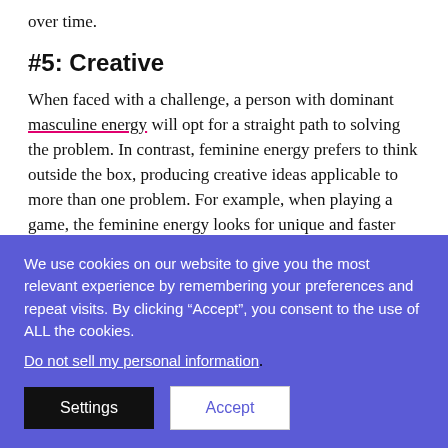over time.
#5: Creative
When faced with a challenge, a person with dominant masculine energy will opt for a straight path to solving the problem. In contrast, feminine energy prefers to think outside the box, producing creative ideas applicable to more than one problem. For example, when playing a game, the feminine energy looks for unique and faster ways to win. But, masculine energy will use the rules and
We use cookies on our website to give you the most relevant experience by remembering your preferences and repeat visits. By clicking “Accept”, you consent to the use of ALL the cookies.
Do not sell my personal information.
Settings  Accept